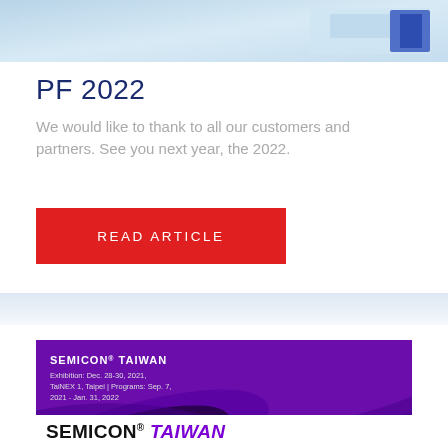[Figure (photo): Partial view of a product or device with blue/light background, cropped at top of page]
PF 2022
We would like to thank to all our customers and partners. See you next year, the 2022.
READ ARTICLE
[Figure (photo): SEMICON TAIWAN promotional banner card with purple background. Exhibition: Dec. 28-30, 2021, TaiNEX 1, Taipei | Programs: Sep. 7, 2021 - Jan. 31, 2022]
SEMICON® TAIWAN